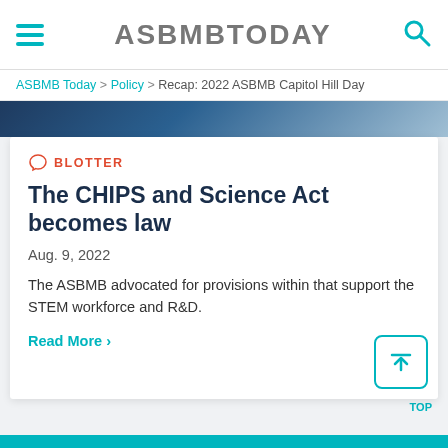ASBMBTODAY
ASBMB Today > Policy > Recap: 2022 ASBMB Capitol Hill Day
[Figure (photo): Cropped photo of a scientific or government building, partially visible, blue tones]
BLOTTER
The CHIPS and Science Act becomes law
Aug. 9, 2022
The ASBMB advocated for provisions within that support the STEM workforce and R&D.
Read More